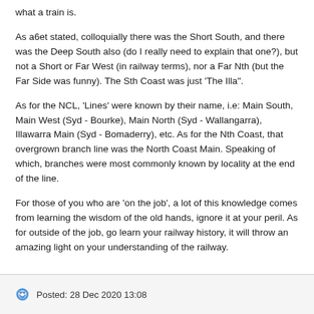what a train is.
As a6et stated, colloquially there was the Short South, and there was the Deep South also (do I really need to explain that one?), but not a Short or Far West (in railway terms), nor a Far Nth (but the Far Side was funny). The Sth Coast was just 'The Illa".
As for the NCL, 'Lines' were known by their name, i.e: Main South, Main West (Syd - Bourke), Main North (Syd - Wallangarra), Illawarra Main (Syd - Bomaderry), etc. As for the Nth Coast, that overgrown branch line was the North Coast Main. Speaking of which, branches were most commonly known by locality at the end of the line.
For those of you who are 'on the job', a lot of this knowledge comes from learning the wisdom of the old hands, ignore it at your peril. As for outside of the job, go learn your railway history, it will throw an amazing light on your understanding of the railway.
Posted: 28 Dec 2020 13:08